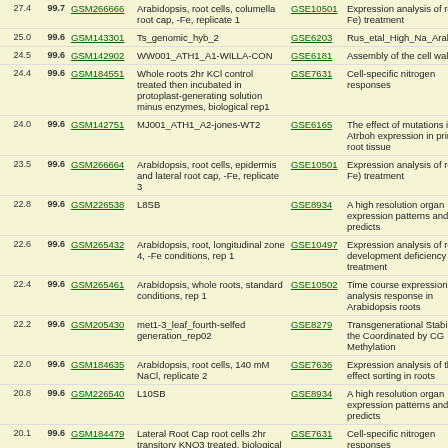| Score | % | GSM | Description | GSE | Title |
| --- | --- | --- | --- | --- | --- |
| 27.4 | 99.7 | GSM266666 | Arabidopsis, root cells, columella root cap, -Fe, replicate 1 | GSE10501 | Expression analysis of root cell-Fe) treatment |
| 25.0 | 99.6 | GSM143301 | Ts_genomic_hyb_2 | GSE6203 | Rus_etal_High_Na_Arabidopsis |
| 24.5 | 99.6 | GSM142902 | WW001_ATH1_A1-WILLA-CON | GSE6181 | Assembly of the cell wall pectic |
| 24.4 | 99.6 | GSM184551 | Whole roots 2hr KCl control treated then incubated in protoplast-generating solution minus enzymes, biological rep1 | GSE7631 | Cell-specific nitrogen responses |
| 24.0 | 99.6 | GSM142751 | MJ001_ATH1_A2-jones-WT2 | GSE6165 | The effect of mutations in Atrboh expression in primary root tissue |
| 23.5 | 99.6 | GSM266664 | Arabidopsis, root cells, epidermis and lateral root cap, -Fe, replicate 3 | GSE10501 | Expression analysis of root cell-Fe) treatment |
| 22.8 | 99.6 | GSM226538 | L8SB | GSE8934 | A high resolution organ expression patterns and predicts |
| 22.6 | 99.6 | GSM265432 | Arabidopsis, root, longitudinal zone 4, -Fe conditions, rep 1 | GSE10497 | Expression analysis of root development deficiency (-Fe) treatment |
| 22.4 | 99.6 | GSM265461 | Arabidopsis, whole roots, standard conditions, rep 1 | GSE10502 | Time course expression analysis response in Arabidopsis roots |
| 22.2 | 99.6 | GSM205430 | met1-3_leaf_fourth-selfed generation_rep02 | GSE8279 | Transgenerational Stability of the Coordinated by CG Methylation |
| 22.0 | 99.6 | GSM184635 | Arabidopsis, root cells, 140 mM NaCl, replicate 2 | GSE7636 | Expression analysis of the effect sorting in roots |
| 20.8 | 99.6 | GSM226540 | L10SB | GSE8934 | A high resolution organ expression patterns and predicts |
| 20.1 | 99.6 | GSM184479 | Lateral Root Cap root cells 2hr transitory KNO3 treated, biological rep1 | GSE7631 | Cell-specific nitrogen responses |
| 19.6 | 99.6 | GSM184478 | Lateral Root Cap root cells 2hr KCl control treated, biological rep3 | GSE7631 | Cell-specific nitrogen responses |
| 19.2 | 99.6 | GSM265431 | Arabidopsis, root, longitudinal zone 3, -Fe conditions, rep 2 | GSE10497 | Expression analysis of root development deficiency (-Fe) treatment |